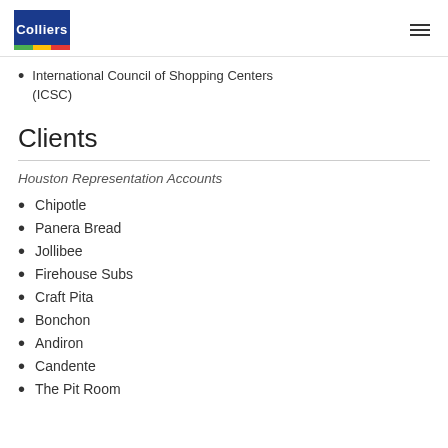Colliers
International Council of Shopping Centers (ICSC)
Clients
Houston Representation Accounts
Chipotle
Panera Bread
Jollibee
Firehouse Subs
Craft Pita
Bonchon
Andiron
Candente
The Pit Room